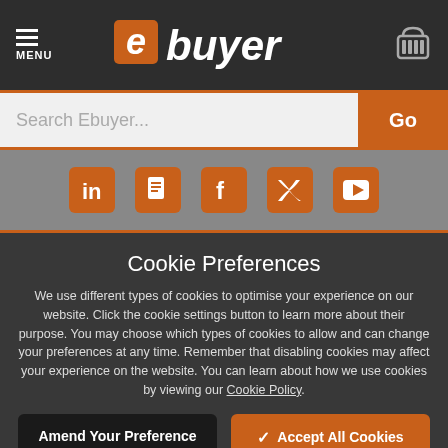ebuyer - MENU
[Figure (screenshot): Search bar with 'Search Ebuyer...' placeholder and orange 'Go' button]
[Figure (screenshot): Social media icons bar: LinkedIn, blog/document, Facebook, Twitter, YouTube in orange on grey background]
Cookie Preferences
We use different types of cookies to optimise your experience on our website. Click the cookie settings button to learn more about their purpose. You may choose which types of cookies to allow and can change your preferences at any time. Remember that disabling cookies may affect your experience on the website. You can learn about how we use cookies by viewing our Cookie Policy.
Amend Your Preference | Accept All Cookies